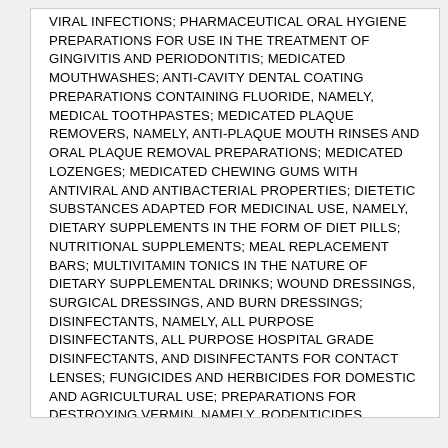VIRAL INFECTIONS; PHARMACEUTICAL ORAL HYGIENE PREPARATIONS FOR USE IN THE TREATMENT OF GINGIVITIS AND PERIODONTITIS; MEDICATED MOUTHWASHES; ANTI-CAVITY DENTAL COATING PREPARATIONS CONTAINING FLUORIDE, NAMELY, MEDICAL TOOTHPASTES; MEDICATED PLAQUE REMOVERS, NAMELY, ANTI-PLAQUE MOUTH RINSES AND ORAL PLAQUE REMOVAL PREPARATIONS; MEDICATED LOZENGES; MEDICATED CHEWING GUMS WITH ANTIVIRAL AND ANTIBACTERIAL PROPERTIES; DIETETIC SUBSTANCES ADAPTED FOR MEDICINAL USE, NAMELY, DIETARY SUPPLEMENTS IN THE FORM OF DIET PILLS; NUTRITIONAL SUPPLEMENTS; MEAL REPLACEMENT BARS; MULTIVITAMIN TONICS IN THE NATURE OF DIETARY SUPPLEMENTAL DRINKS; WOUND DRESSINGS, SURGICAL DRESSINGS, AND BURN DRESSINGS; DISINFECTANTS, NAMELY, ALL PURPOSE DISINFECTANTS, ALL PURPOSE HOSPITAL GRADE DISINFECTANTS, AND DISINFECTANTS FOR CONTACT LENSES; FUNGICIDES AND HERBICIDES FOR DOMESTIC AND AGRICULTURAL USE; PREPARATIONS FOR DESTROYING VERMIN, NAMELY, RODENTICIDES